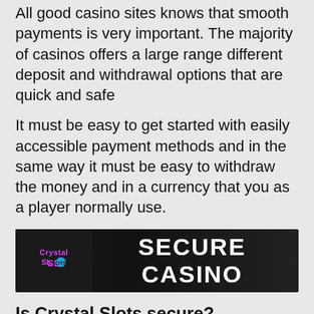All good casino sites knows that smooth payments is very important. The majority of casinos offers a large range different deposit and withdrawal options that are quick and safe
It must be easy to get started with easily accessible payment methods and in the same way it must be easy to withdraw the money and in a currency that you as a player normally use.
[Figure (infographic): Dark banner with Crystal Slots logo on the left and 'SECURE CASINO' text in white bold letters on the right]
Is Crystal Slots secure?
Online gambling in the United Kingdom has never been safer as every online casino operating in England, Wales, Scotland and North Ireland must acquire a license from the UKGC.